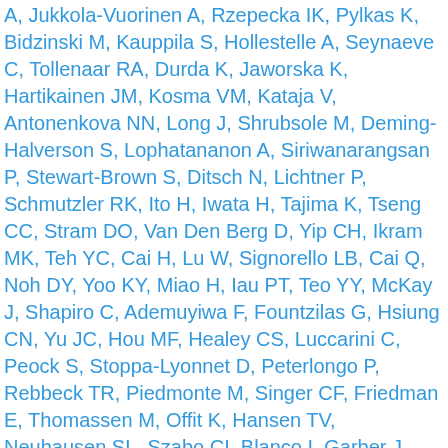A, Jukkola-Vuorinen A, Rzepecka IK, Pylkas K, Bidzinski M, Kauppila S, Hollestelle A, Seynaeve C, Tollenaar RA, Durda K, Jaworska K, Hartikainen JM, Kosma VM, Kataja V, Antonenkova NN, Long J, Shrubsole M, Deming-Halverson S, Lophatananon A, Siriwanarangsan P, Stewart-Brown S, Ditsch N, Lichtner P, Schmutzler RK, Ito H, Iwata H, Tajima K, Tseng CC, Stram DO, Van Den Berg D, Yip CH, Ikram MK, Teh YC, Cai H, Lu W, Signorello LB, Cai Q, Noh DY, Yoo KY, Miao H, Iau PT, Teo YY, McKay J, Shapiro C, Ademuyiwa F, Fountzilas G, Hsiung CN, Yu JC, Hou MF, Healey CS, Luccarini C, Peock S, Stoppa-Lyonnet D, Peterlongo P, Rebbeck TR, Piedmonte M, Singer CF, Friedman E, Thomassen M, Offit K, Hansen TV, Neuhausen SL, Szabo CI, Blanco I, Garber J, Narod SA, Weitzel JN, Montagna M, Olah E, Godwin AK, Yannoukakos D, Goldgar DE, Caldes T, Imyanitov EN, Tihomirova L, Arun BK, Campbell I, Mensenkamp AR, van Asperen CJ, van Roozendaal KE, Meijers-Heijboer H, Collée JM, Oosterwijk JC, Hooning MJ, Rookus MA, Van Der Luijt RB, Os TA, Evans DG, Frost D, Fineberg E, Barwell J, Walker L, Kennedy MJ, Platte R, Davidson R, Ellis SD, Cole T, Bressac-de Paillerets